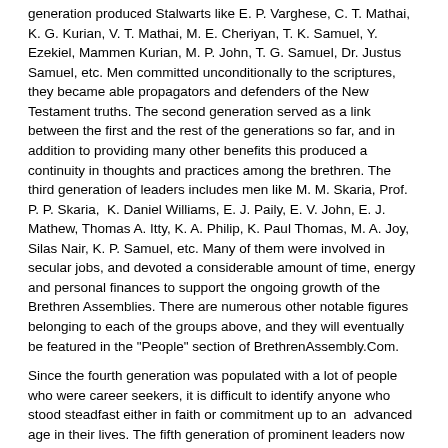generation produced Stalwarts like E. P. Varghese, C. T. Mathai, K. G. Kurian, V. T. Mathai, M. E. Cheriyan, T. K. Samuel, Y. Ezekiel, Mammen Kurian, M. P. John, T. G. Samuel, Dr. Justus Samuel, etc. Men committed unconditionally to the scriptures, they became able propagators and defenders of the New Testament truths. The second generation served as a link between the first and the rest of the generations so far, and in addition to providing many other benefits this produced a continuity in thoughts and practices among the brethren. The third generation of leaders includes men like M. M. Skaria, Prof. P. P. Skaria, K. Daniel Williams, E. J. Paily, E. V. John, E. J. Mathew, Thomas A. Itty, K. A. Philip, K. Paul Thomas, M. A. Joy, Silas Nair, K. P. Samuel, etc. Many of them were involved in secular jobs, and devoted a considerable amount of time, energy and personal finances to support the ongoing growth of the Brethren Assemblies. There are numerous other notable figures belonging to each of the groups above, and they will eventually be featured in the "People" section of BrethrenAssembly.Com.
Since the fourth generation was populated with a lot of people who were career seekers, it is difficult to identify anyone who stood steadfast either in faith or commitment up to an advanced age in their lives. The fifth generation of prominent leaders now includes a large number of highly qualified and trained men who, because of their secular training on one hand and spiritual commitment on the other, have brought in much spiritual quality and professionalism in the assemblies. These include men like A. John George, John Kurian, Dr. Alexander Kurian, Joy John, Jos Mathew, Abraham Thomas (Kochi), James Varghese, Varghese John, Dr. K. C. Johnson, Dr. Oommen Philip, John P. Thomas, Dr. Johnson C. Philip, Shalu T. Ninan, Billy P. Jacob, etc.